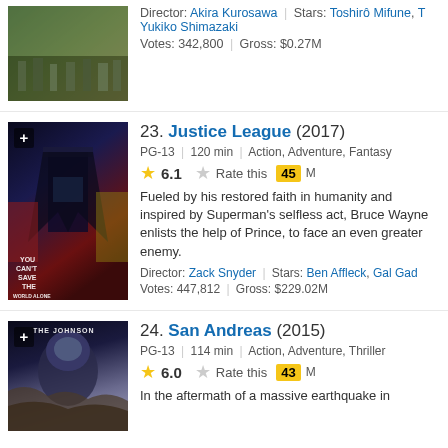[Figure (photo): Partial movie poster for a Akira Kurosawa film at the top of the page]
Director: Akira Kurosawa | Stars: Toshirô Mifune, T Yukiko Shimazaki
Votes: 342,800 | Gross: $0.27M
23. Justice League (2017)
PG-13 | 120 min | Action, Adventure, Fantasy
6.1  Rate this  45
[Figure (photo): Justice League (2017) movie poster showing superhero characters with text 'You Can't Save The World Alone']
Fueled by his restored faith in humanity and inspired by Superman's selfless act, Bruce Wayne enlists the help of Prince, to face an even greater enemy.
Director: Zack Snyder | Stars: Ben Affleck, Gal Gad
Votes: 447,812 | Gross: $229.02M
24. San Andreas (2015)
PG-13 | 114 min | Action, Adventure, Thriller
6.0  Rate this  43
[Figure (photo): San Andreas (2015) movie poster - The Johnson]
In the aftermath of a massive earthquake in